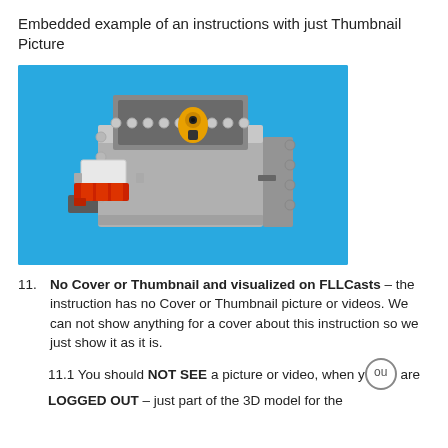Embedded example of an instructions with just Thumbnail Picture
[Figure (photo): A LEGO construction resembling a box/scanner device with gray bricks, a white panel, red bricks at front, and a small yellow and black sensor/camera piece inside, on a blue background.]
No Cover or Thumbnail and visualized on FLLCasts – the instruction has no Cover or Thumbnail picture or videos. We can not show anything for a cover about this instruction so we just show it as it is.
11.1 You should NOT SEE a picture or video, when you are LOGGED OUT – just part of the 3D model for the